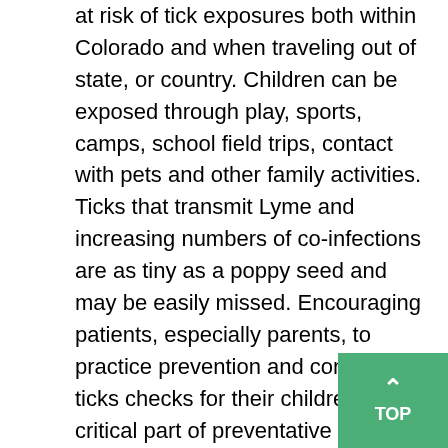at risk of tick exposures both within Colorado and when traveling out of state, or country. Children can be exposed through play, sports, camps, school field trips, contact with pets and other family activities. Ticks that transmit Lyme and increasing numbers of co-infections are as tiny as a poppy seed and may be easily missed. Encouraging patients, especially parents, to practice prevention and conduct ticks checks for their children is a critical part of preventative health care. Pregnancy Some diseases, including Lyme, Bartonella, Babesia, Tick-Borne Relapsing Fever, and others may be transmitted congenitally from mother to child during pregnancy. In a recent case report, Tick-Borne Relapsing Fever (TBRF) in a